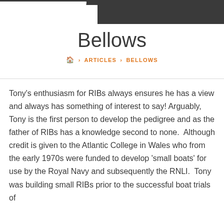Bellows
Bellows
🏠 › ARTICLES › BELLOWS
Tony's enthusiasm for RIBs always ensures he has a view and always has something of interest to say! Arguably, Tony is the first person to develop the pedigree and as the father of RIBs has a knowledge second to none.  Although credit is given to the Atlantic College in Wales who from the early 1970s were funded to develop 'small boats' for use by the Royal Navy and subsequently the RNLI.  Tony was building small RIBs prior to the successful boat trials of